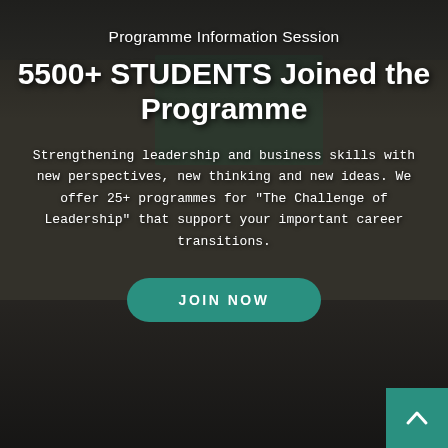[Figure (photo): Group photo of programme participants at a leadership session, seated and standing around a conference table with bottles and materials visible. Background shows a presentation screen with 'Leadership' text. Dark overlay applied over the photo.]
Programme Information Session
5500+ STUDENTS Joined the Programme
Strengthening leadership and business skills with new perspectives, new thinking and new ideas. We offer 25+ programmes for "The Challenge of Leadership" that support your important career transitions.
JOIN NOW